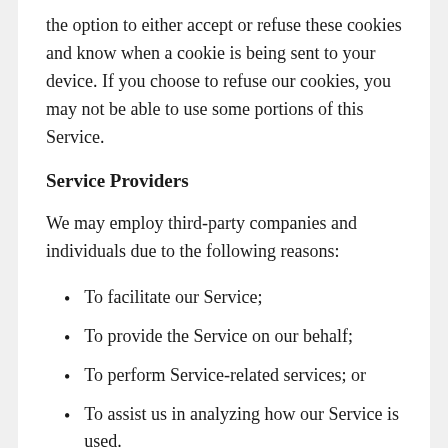the option to either accept or refuse these cookies and know when a cookie is being sent to your device. If you choose to refuse our cookies, you may not be able to use some portions of this Service.
Service Providers
We may employ third-party companies and individuals due to the following reasons:
To facilitate our Service;
To provide the Service on our behalf;
To perform Service-related services; or
To assist us in analyzing how our Service is used.